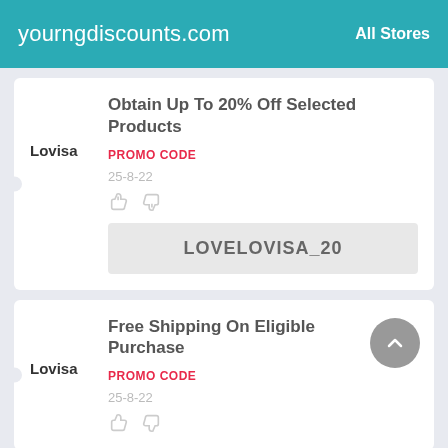yourngdiscounts.com | All Stores
Obtain Up To 20% Off Selected Products
PROMO CODE
25-8-22
Lovisa
LOVELOVISA_20
Free Shipping On Eligible Purchase
PROMO CODE
25-8-22
Lovisa